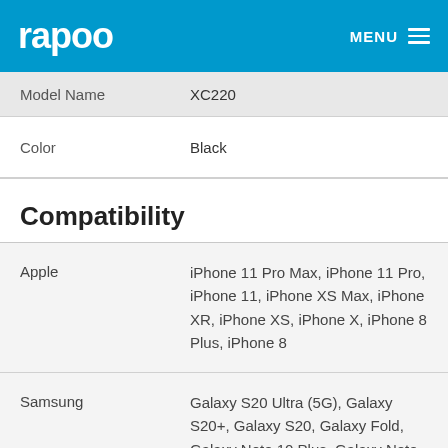rapoo | MENU
| Attribute | Value |
| --- | --- |
| Model Name | XC220 |
| Color | Black |
Compatibility
| Brand | Compatible Models |
| --- | --- |
| Apple | iPhone 11 Pro Max, iPhone 11 Pro, iPhone 11, iPhone XS Max, iPhone XR, iPhone XS, iPhone X, iPhone 8 Plus, iPhone 8 |
| Samsung | Galaxy S20 Ultra (5G), Galaxy S20+, Galaxy S20, Galaxy Fold, Galaxy Note 10 Plus, Galaxy Note 10, Galaxy S10 Plus, Galaxy S10e, |